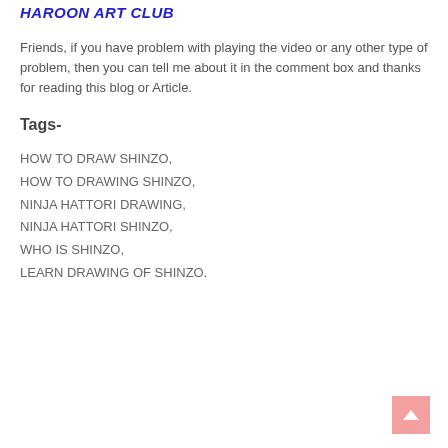HAROON ART CLUB
Friends, if you have problem with playing the video or any other type of problem, then you can tell me about it in the comment box and thanks for reading this blog or Article.
Tags-
HOW TO DRAW SHINZO,
HOW TO DRAWING SHINZO,
NINJA HATTORI DRAWING,
NINJA HATTORI SHINZO,
WHO IS SHINZO,
LEARN DRAWING OF SHINZO.